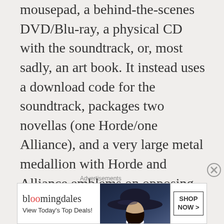mousepad, a behind-the-scenes DVD/Blu-ray, a physical CD with the soundtrack, or, most sadly, an art book. It instead uses a download code for the soundtrack, packages two novellas (one Horde/one Alliance), and a very large metal medallion with Horde and Alliance emblems on opposing sides. The best news I found, however, was that they have finally figured out the process of the digital pre-order offering extra goodies that are early access (Demon Hunters, Allied Races, etc). Now, when the physical CE key is added to your
[Figure (other): Bloomingdale's advertisement banner: logo text 'bloomingdales', tagline 'View Today's Top Deals!', image of woman with large hat, 'SHOP NOW >' button]